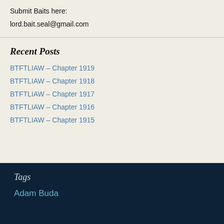Submit Baits here:
lord.bait.seal@gmail.com
Recent Posts
BTFTLIAW – Chapter 1919
BTFTLIAW – Chapter 1918
BTFTLIAW – Chapter 1917
BTFTLIAW – Chapter 1916
BTFTLIAW – Chapter 1915
Tags
Adam Buda